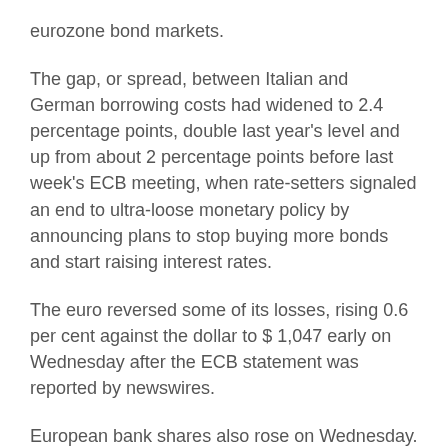eurozone bond markets.
The gap, or spread, between Italian and German borrowing costs had widened to 2.4 percentage points, double last year's level and up from about 2 percentage points before last week's ECB meeting, when rate-setters signaled an end to ultra-loose monetary policy by announcing plans to stop buying more bonds and start raising interest rates.
The euro reversed some of its losses, rising 0.6 per cent against the dollar to $ 1,047 early on Wednesday after the ECB statement was reported by newswires.
European bank shares also rose on Wednesday. The Euro Stoxx Banks index gained 3.7 per cent with big Italian lenders UniCredit and Intesa Sanpaolo jumping more than 6 per cent.
The meeting comes ahead of the Federal Reserve's